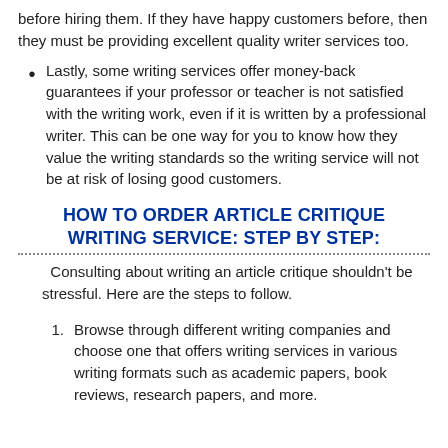before hiring them. If they have happy customers before, then they must be providing excellent quality writer services too.
Lastly, some writing services offer money-back guarantees if your professor or teacher is not satisfied with the writing work, even if it is written by a professional writer. This can be one way for you to know how they value the writing standards so the writing service will not be at risk of losing good customers.
HOW TO ORDER ARTICLE CRITIQUE WRITING SERVICE: STEP BY STEP:
Consulting about writing an article critique shouldn't be stressful. Here are the steps to follow.
Browse through different writing companies and choose one that offers writing services in various writing formats such as academic papers, book reviews, research papers, and more.